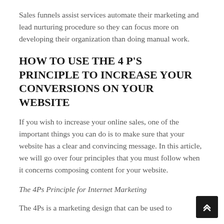Sales funnels assist services automate their marketing and lead nurturing procedure so they can focus more on developing their organization than doing manual work.
HOW TO USE THE 4 P'S PRINCIPLE TO INCREASE YOUR CONVERSIONS ON YOUR WEBSITE
If you wish to increase your online sales, one of the important things you can do is to make sure that your website has a clear and convincing message. In this article, we will go over four principles that you must follow when it concerns composing content for your website.
The 4Ps Principle for Internet Marketing
The 4Ps is a marketing design that can be used to